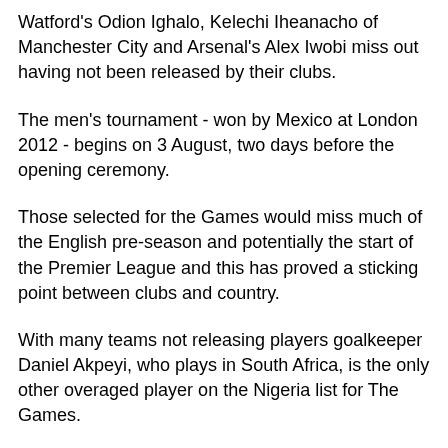Watford's Odion Ighalo, Kelechi Iheanacho of Manchester City and Arsenal's Alex Iwobi miss out having not been released by their clubs.
The men's tournament - won by Mexico at London 2012 - begins on 3 August, two days before the opening ceremony.
Those selected for the Games would miss much of the English pre-season and potentially the start of the Premier League and this has proved a sticking point between clubs and country.
With many teams not releasing players goalkeeper Daniel Akpeyi, who plays in South Africa, is the only other overaged player on the Nigeria list for The Games.
However, Mikel is excited by the prospect of playing in Brazil, posting on his Instagram page: "First part of Chelsea pre-season done. Off to Atlanta to join the Nigeria team for the Olympics 2016."
Nigeria, who have been drawn in Group B of the Rio Games